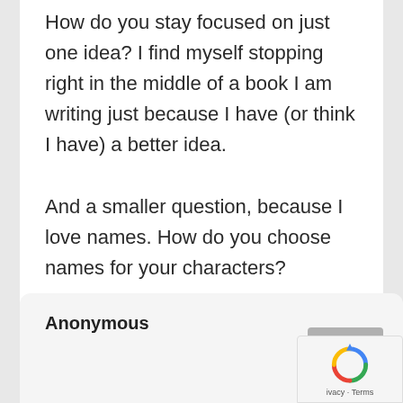How do you stay focused on just one idea? I find myself stopping right in the middle of a book I am writing just because I have (or think I have) a better idea.

And a smaller question, because I love names. How do you choose names for your characters?
↩ Reply
Anonymous